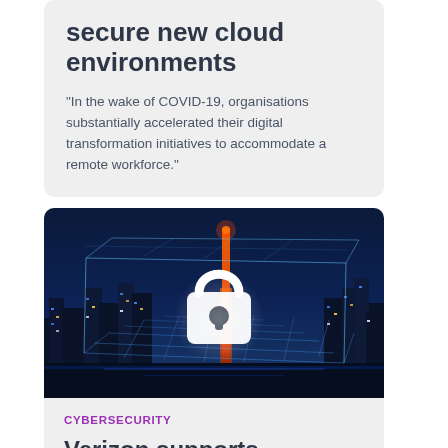secure new cloud environments
“In the wake of COVID-19, organisations substantially accelerated their digital transformation initiatives to accommodate a remote workforce.”
[Figure (photo): Night cityscape aerial view with a white padlock icon overlaid on a glowing wireframe cube grid, representing cybersecurity]
CYBERSECURITY
Verizon supports Fujifilm's